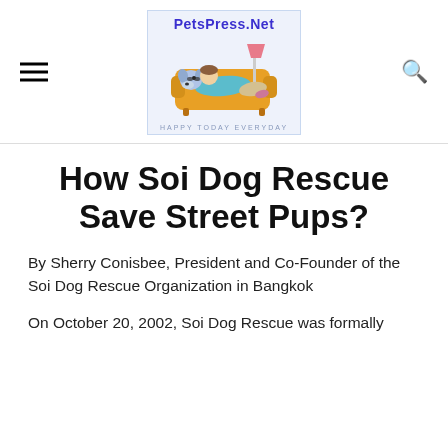PetsPress.Net — HAPPY TODAY EVERYDAY
How Soi Dog Rescue Save Street Pups?
By Sherry Conisbee, President and Co-Founder of the Soi Dog Rescue Organization in Bangkok
On October 20, 2002, Soi Dog Rescue was formally